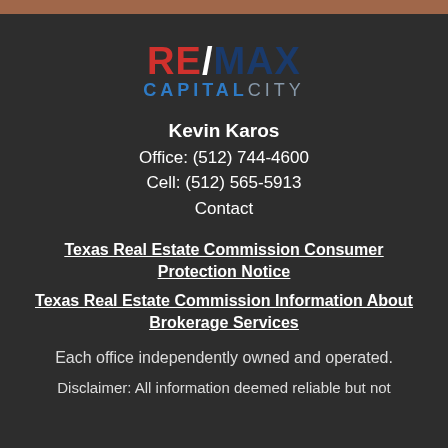[Figure (logo): RE/MAX Capital City logo with red RE, white slash, dark blue MAX, and blue/gray CAPITALCITY text]
Kevin Karos
Office: (512) 744-4600
Cell: (512) 565-5913
Contact
Texas Real Estate Commission Consumer Protection Notice
Texas Real Estate Commission Information About Brokerage Services
Each office independently owned and operated.
Disclaimer: All information deemed reliable but not